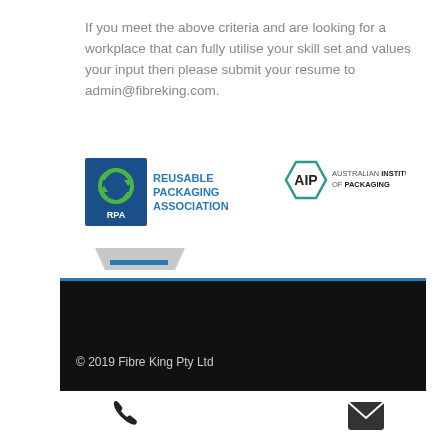If you meet the above criteria and are looking for a workplace that can fully utilise your skill set and values your input then please submit your resume to admin@fibreking.com.
[Figure (logo): RPA Reusable Packaging Association logo — blue square with green recycling arrows graphic labeled RPA, with text REUSABLE PACKAGING ASSOCIATION in teal/dark]
[Figure (logo): AIP Australian Institute of Packaging logo — teal hexagon with AIP text and AUSTRALIAN INSTITUTE OF PACKAGING text]
[Figure (logo): APPMA logo — trapezoid shape above APPMA text with Australian Packaging and Processing Machinery Association Limited below]
© 2019 Fibre King Pty Ltd